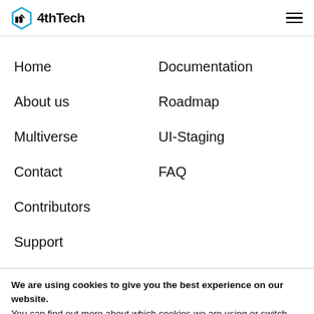4thTech
Home
Documentation
About us
Roadmap
Multiverse
UI-Staging
Contact
FAQ
Contributors
Support
We are using cookies to give you the best experience on our website.
You can find out more about which cookies we are using or switch them off in settings.